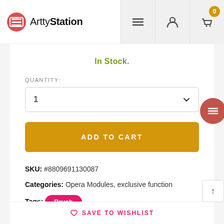ArttyStation
In Stock.
QUANTITY:
1
ADD TO CART
SKU: #8809691130087
Categories: Opera Modules, exclusive function
Tags: Brush
SAVE TO WISHLIST